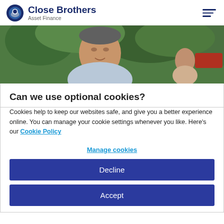[Figure (logo): Close Brothers Asset Finance logo with circular blue/grey icon and brand name]
[Figure (photo): Photo of a man smiling outdoors with trees in the background]
Can we use optional cookies?
Cookies help to keep our websites safe, and give you a better experience online. You can manage your cookie settings whenever you like. Here’s our Cookie Policy
Manage cookies
Decline
Accept